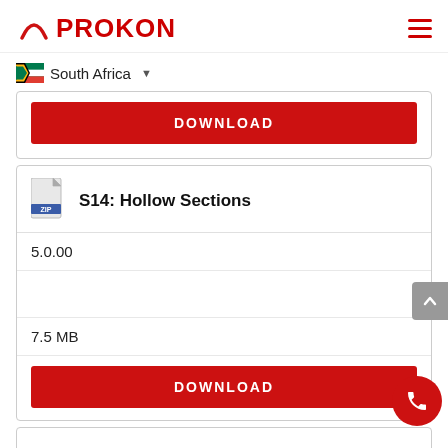[Figure (logo): PROKON logo with red arch mark and red bold text]
South Africa
DOWNLOAD
S14: Hollow Sections
5.0.00
7.5 MB
DOWNLOAD